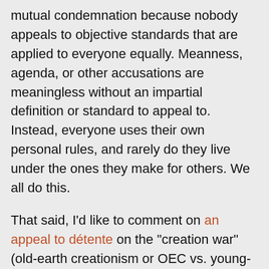mutual condemnation because nobody appeals to objective standards that are applied to everyone equally. Meanness, agenda, or other accusations are meaningless without an impartial definition or standard to appeal to. Instead, everyone uses their own personal rules, and rarely do they live under the ones they make for others. We all do this.
That said, I'd like to comment on an appeal to détente on the "creation war" (old-earth creationism or OEC vs. young-earth creationism or YEC). I honestly appreciate the intent to offer an olive branch, but as long as the double standards and straw men still fly around, how can that happen? We should not be satisfied with a grudging admission that our opponents might just be Christians after